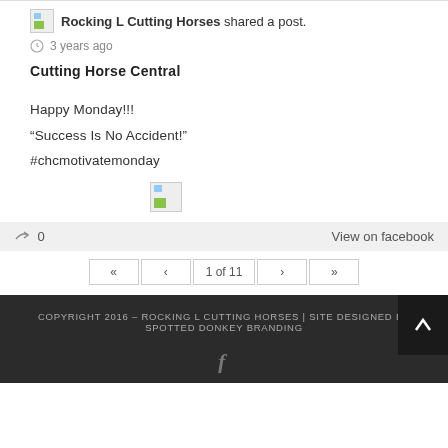Rocking L Cutting Horses shared a post.
3 years ago
Cutting Horse Central
Happy Monday!!!
“Success Is No Accident!”
#chcmotivatemonday
[Figure (photo): Broken image placeholder]
0   View on facebook
« ‹ 1 of 11 › »
COPYRIGHT 2016 – ROCKING L CUTTING HORSES | SITE DESIGNED BY SPOTTED DONKEY BRANDING